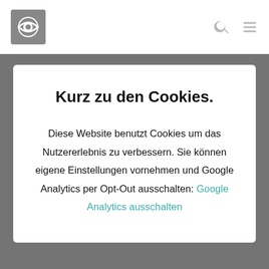Kurz zu den Cookies.
Diese Website benutzt Cookies um das Nutzererlebnis zu verbessern. Sie können eigene Einstellungen vornehmen und Google Analytics per Opt-Out ausschalten: Google Analytics ausschalten
von der Sprecherin des Deutschen Fechterbundes.